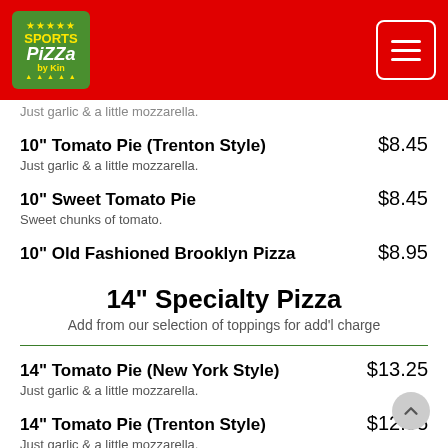Sports Pizza by Kin
Just garlic & a little mozzarella. (partial, cut off at top)
10" Tomato Pie (Trenton Style) $8.45 — Just garlic & a little mozzarella.
10" Sweet Tomato Pie $8.45 — Sweet chunks of tomato.
10" Old Fashioned Brooklyn Pizza $8.95
14" Specialty Pizza
Add from our selection of toppings for add'l charge
14" Tomato Pie (New York Style) $13.25 — Just garlic & a little mozzarella.
14" Tomato Pie (Trenton Style) $12.95 — Just garlic & a little mozzarella.
14" Sweet Tomato Pie $12 — Sweet chunks of tomato.